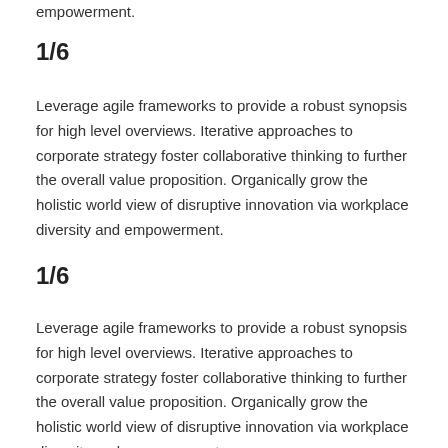empowerment.
1/6
Leverage agile frameworks to provide a robust synopsis for high level overviews. Iterative approaches to corporate strategy foster collaborative thinking to further the overall value proposition. Organically grow the holistic world view of disruptive innovation via workplace diversity and empowerment.
1/6
Leverage agile frameworks to provide a robust synopsis for high level overviews. Iterative approaches to corporate strategy foster collaborative thinking to further the overall value proposition. Organically grow the holistic world view of disruptive innovation via workplace diversity and empowerment.